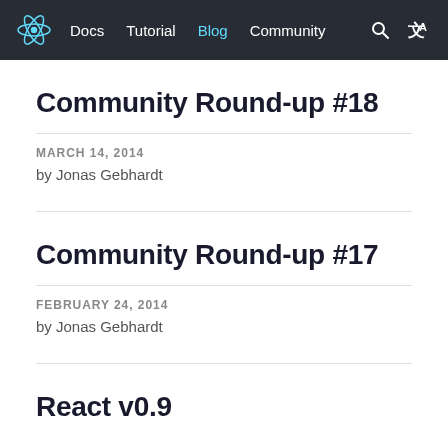React logo | Docs | Tutorial | Blog | Community | Search | Translate
Community Round-up #18
MARCH 14, 2014
by Jonas Gebhardt
Community Round-up #17
FEBRUARY 24, 2014
by Jonas Gebhardt
React v0.9